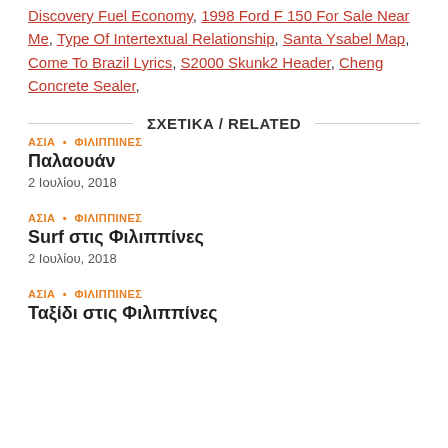Discovery Fuel Economy, 1998 Ford F 150 For Sale Near Me, Type Of Intertextual Relationship, Santa Ysabel Map, Come To Brazil Lyrics, S2000 Skunk2 Header, Cheng Concrete Sealer,
ΣΧΕΤΙΚΑ / RELATED
ΑΣΙΑ • ΦΙΛΙΠΠΙΝΕΣ
Παλαουάν
2 Ιουλίου, 2018
ΑΣΙΑ • ΦΙΛΙΠΠΙΝΕΣ
Surf στις Φιλιππίνες
2 Ιουλίου, 2018
ΑΣΙΑ • ΦΙΛΙΠΠΙΝΕΣ
Ταξίδι στις Φιλιππίνες